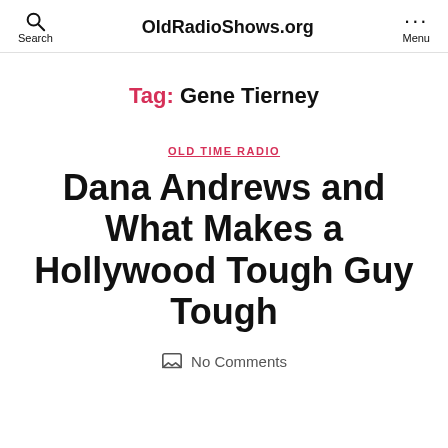OldRadioShows.org
Tag: Gene Tierney
OLD TIME RADIO
Dana Andrews and What Makes a Hollywood Tough Guy Tough
No Comments